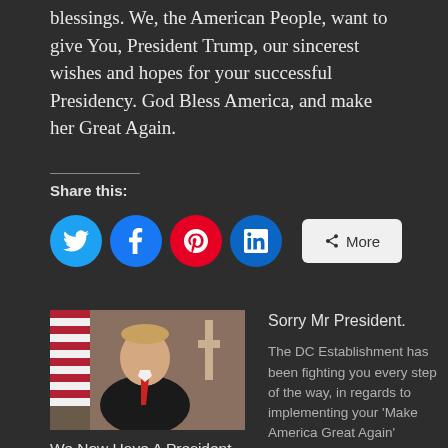blessings. We, the American People, want to give You, President Trump, our sincerest wishes and hopes for your successful Presidency. God Bless America, and make her Great Again.
Share this:
[Figure (infographic): Social share buttons: Twitter (blue circle), Facebook (blue circle), Pinterest (red circle), LinkedIn (blue circle), and a More button]
[Figure (photo): Photo of President Trump speaking, with American flag in background]
We Now Have A President Of The United States Of America.
May 22, 2018
In "US Future News"
Sorry Mr President.
The DC Establishment has been fighting you every step of the way, in regards to implementing your 'Make America Great Again'
September 27, 2017
In "US Future News"